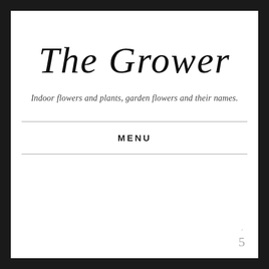The Grower
Indoor flowers and plants, garden flowers and their names.
MENU
5